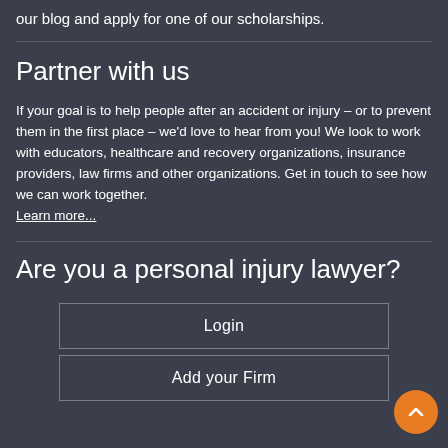our blog and apply for one of our scholarships.
Partner with us
If your goal is to help people after an accident or injury – or to prevent them in the first place – we'd love to hear from you! We look to work with educators, healthcare and recovery organizations, insurance providers, law firms and other organizations. Get in touch to see how we can work together. Learn more...
Are you a personal injury lawyer?
Login
Add your Firm